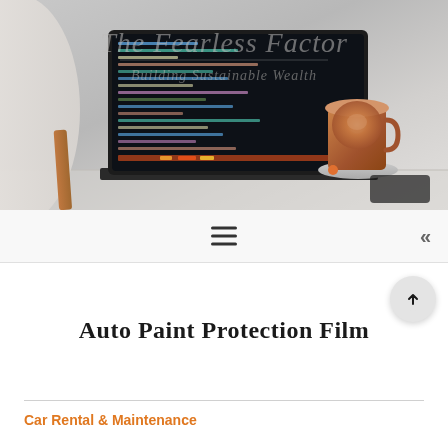[Figure (photo): Hero image of a laptop showing a dark code editor on screen, a latte coffee cup with latte art on a saucer to the right, and part of a white chair on the left, on a light grey table surface. Overlaid with watermark text reading 'The Fearless Factor' and 'Building Sustainable Wealth'.]
The Fearless Factor
Building Sustainable Wealth
[Figure (infographic): Navigation bar with hamburger menu icon (three horizontal lines) centered, and double left-arrow (<<) icon on the right side.]
Auto Paint Protection Film
Car Rental & Maintenance